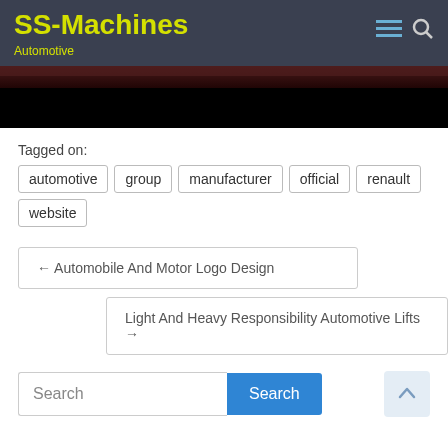SS-Machines
Automotive
[Figure (photo): Dark hero image area, partially visible car or scene with black background]
Tagged on: automotive  group  manufacturer  official  renault  website
← Automobile And Motor Logo Design
Light And Heavy Responsibility Automotive Lifts →
Search